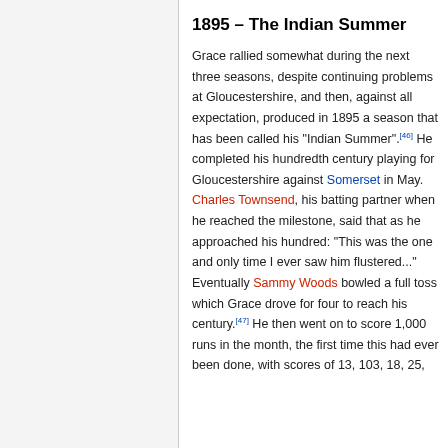1895 – The Indian Summer
Grace rallied somewhat during the next three seasons, despite continuing problems at Gloucestershire, and then, against all expectation, produced in 1895 a season that has been called his "Indian Summer".[46] He completed his hundredth century playing for Gloucestershire against Somerset in May. Charles Townsend, his batting partner when he reached the milestone, said that as he approached his hundred: "This was the one and only time I ever saw him flustered..." Eventually Sammy Woods bowled a full toss which Grace drove for four to reach his century.[47] He then went on to score 1,000 runs in the month, the first time this had ever been done, with scores of 13, 103, 18, 25,